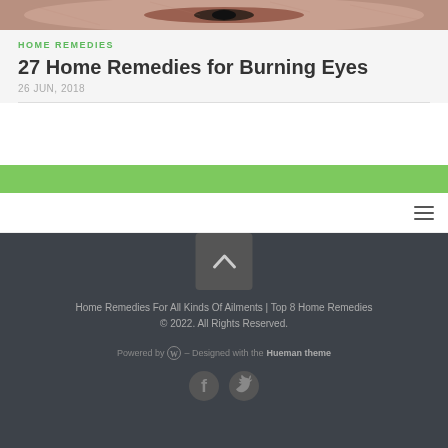[Figure (photo): Close-up photo of a human eye with reddish skin, partially cropped at the top of the page]
HOME REMEDIES
27 Home Remedies for Burning Eyes
26 JUN, 2018
[Figure (other): Green navigation bar]
[Figure (other): Hamburger menu icon (three horizontal lines) on white navigation bar]
[Figure (other): Back-to-top button with chevron/caret up icon]
Home Remedies For All Kinds Of Ailments | Top 8 Home Remedies © 2022. All Rights Reserved.
Powered by WordPress – Designed with the Hueman theme
[Figure (other): Facebook and Twitter social media icons]